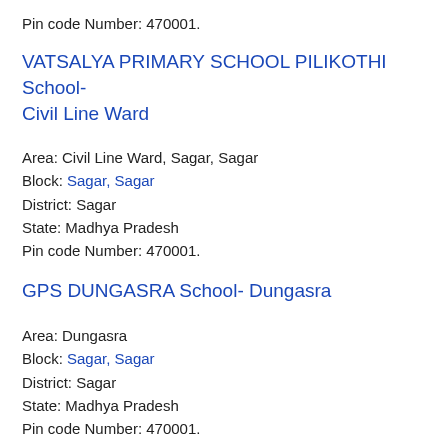Pin code Number: 470001.
VATSALYA PRIMARY SCHOOL PILIKOTHI School- Civil Line Ward
Area: Civil Line Ward, Sagar, Sagar
Block: Sagar, Sagar
District: Sagar
State: Madhya Pradesh
Pin code Number: 470001.
GPS DUNGASRA School- Dungasra
Area: Dungasra
Block: Sagar, Sagar
District: Sagar
State: Madhya Pradesh
Pin code Number: 470001.